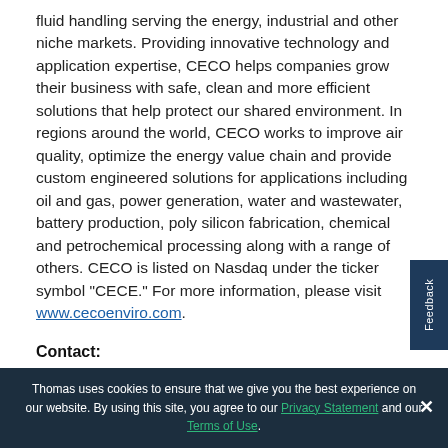fluid handling serving the energy, industrial and other niche markets. Providing innovative technology and application expertise, CECO helps companies grow their business with safe, clean and more efficient solutions that help protect our shared environment. In regions around the world, CECO works to improve air quality, optimize the energy value chain and provide custom engineered solutions for applications including oil and gas, power generation, water and wastewater, battery production, poly silicon fabrication, chemical and petrochemical processing along with a range of others. CECO is listed on Nasdaq under the ticker symbol "CECE." For more information, please visit www.cecoenviro.com.
Contact:
Thomas uses cookies to ensure that we give you the best experience on our website. By using this site, you agree to our Privacy Statement and our Terms of Use.